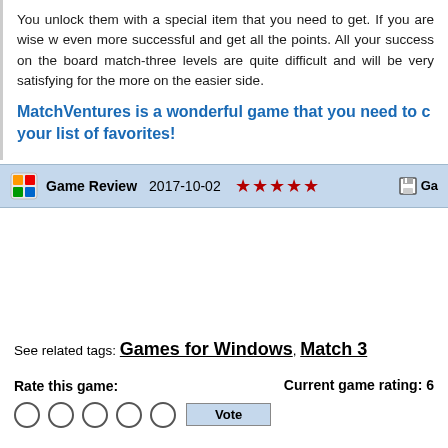You unlock them with a special item that you need to get. If you are wise w even more successful and get all the points. All your success on the board match-three levels are quite difficult and will be very satisfying for the more on the easier side.
MatchVentures is a wonderful game that you need to c your list of favorites!
Game Review   2017-10-02   ★★★★★   Ga
See related tags: Games for Windows, Match 3
Rate this game:   Current game rating: 6
Vote